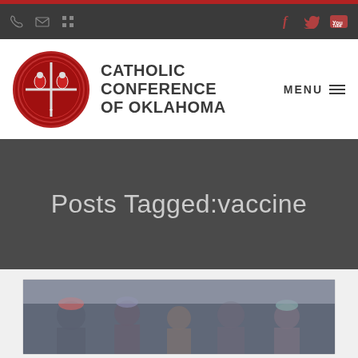Catholic Conference of Oklahoma - Navigation bar with phone, email, menu icons and social media links (Facebook, Twitter, YouTube)
[Figure (logo): Catholic Conference of Oklahoma logo: circular red emblem with cross and two figures, beside bold text reading CATHOLIC CONFERENCE OF OKLAHOMA]
Posts Tagged:vaccine
[Figure (photo): Crowd of people outdoors in winter clothing, partially visible at bottom of page]